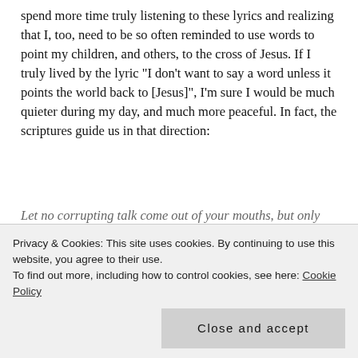spend more time truly listening to these lyrics and realizing that I, too, need to be so often reminded to use words to point my children, and others, to the cross of Jesus. If I truly lived by the lyric "I don't want to say a word unless it points the world back to [Jesus]", I'm sure I would be much quieter during my day, and much more peaceful. In fact, the scriptures guide us in that direction:
Let no corrupting talk come out of your mouths, but only such as is good for building up, as fits the occasion, that it may give grace to those who hear. Ephesians 4:29
Privacy & Cookies: This site uses cookies. By continuing to use this website, you agree to their use. To find out more, including how to control cookies, see here: Cookie Policy
Close and accept